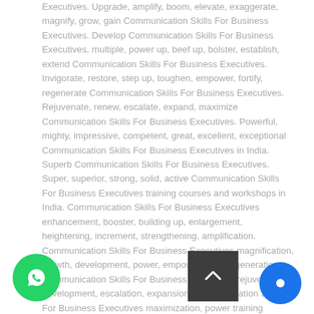Executives. Upgrade, amplify, boom, elevate, exaggerate, magnify, grow, gain Communication Skills For Business Executives. Develop Communication Skills For Business Executives, multiple, power up, beef up, bolster, establish, extend Communication Skills For Business Executives. Invigorate, restore, step up, toughen, empower, fortify, regenerate Communication Skills For Business Executives. Rejuvenate, renew, escalate, expand, maximize Communication Skills For Business Executives. Powerful, mighty, impressive, competent, great, excellent, exceptional Communication Skills For Business Executives in India. Superb Communication Skills For Business Executives. Super, superior, strong, solid, active Communication Skills For Business Executives training courses and workshops in India. Communication Skills For Business Executives enhancement, booster, building up, enlargement, heightening, increment, strengthening, amplification. Communication Skills For Business Executives magnification, growth, development, power, empowerment, regeneration. Communication Skills For Business Executives rejuvenation, development, escalation, expansion. Communication Skills For Business Executives maximization, power training courses & workshops in India.